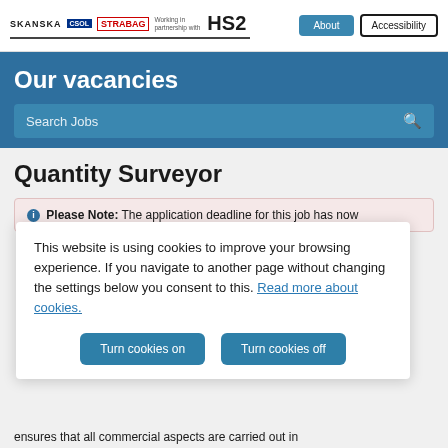SKANSKA | CSL | STRABAG | Working in partnership with HS2 | About | Accessibility
Our vacancies
Search Jobs
Quantity Surveyor
Please Note: The application deadline for this job has now
This website is using cookies to improve your browsing experience. If you navigate to another page without changing the settings below you consent to this. Read more about cookies.
Turn cookies on | Turn cookies off
ensures that all commercial aspects are carried out in